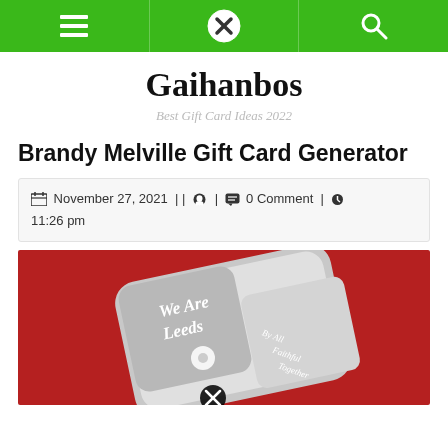Navigation bar with menu, close, and search icons
Gaihanbos
Best Gift Card Ideas 2022
Brandy Melville Gift Card Generator
November 27, 2021 | | [user icon] | [comment icon] 0 Comment | [clock icon] 11:26 pm
[Figure (photo): A silver engraved lighter with 'We Are Leeds' text and a flower design on a red fabric background, with additional text visible]